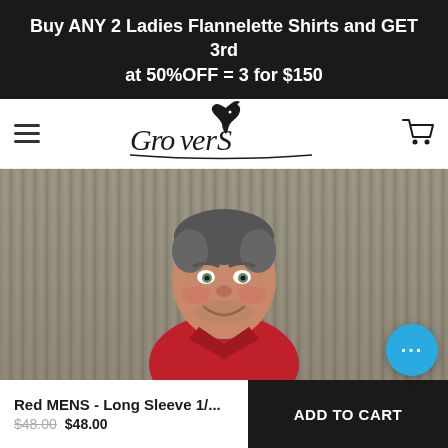Buy ANY 2 Ladies Flannelette Shirts and GET 3rd at 50%OFF = 3 for $150
[Figure (logo): Grovers brand logo with horse silhouette illustration and stylized text]
[Figure (photo): Smiling middle-aged man wearing a red long sleeve shirt, standing in front of a corrugated metal wall background]
Red MENS - Long Sleeve 1/...
$48.00  $48.00
ADD TO CART